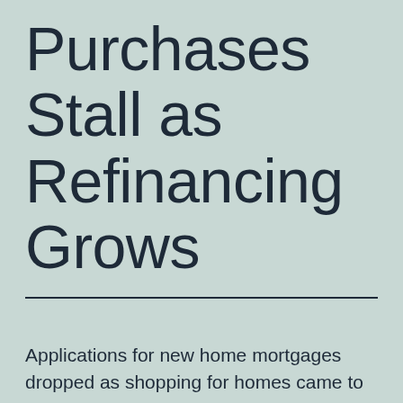Purchases Stall as Refinancing Grows
Applications for new home mortgages dropped as shopping for homes came to a stall last